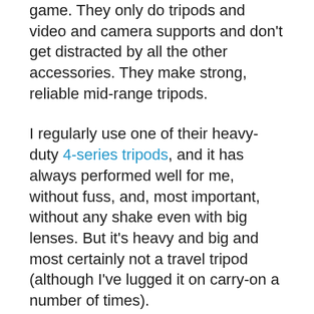game. They only do tripods and video and camera supports and don't get distracted by all the other accessories. They make strong, reliable mid-range tripods.
I regularly use one of their heavy-duty 4-series tripods, and it has always performed well for me, without fuss, and, most important, without any shake even with big lenses. But it's heavy and big and most certainly not a travel tripod (although I've lugged it on carry-on a number of times).
But what about their smaller travel tripods? I put the Induro Grand Turismo CGT114 through its paces.